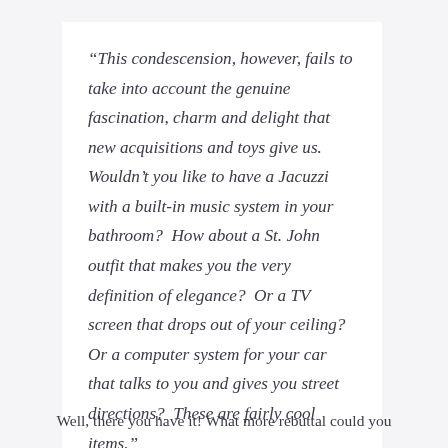“This condescension, however, fails to take into account the genuine fascination, charm and delight that new acquisitions and toys give us.  Wouldn’t you like to have a Jacuzzi with a built-in music system in your bathroom?  How about a St. John outfit that makes you the very definition of elegance?  Or a TV screen that drops out of your ceiling?  Or a computer system for your car that talks to you and gives you street directions?  These are fairly cool items.”
Well, there you have it! What more rebuttal could you